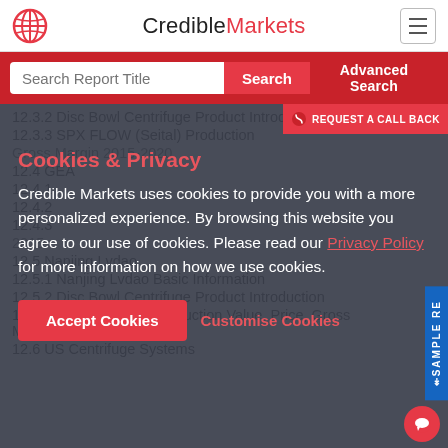CredibleMarkets
12.3.2 Disc Bowl Centrifuge Product Introduction
12.3.3 SPX FLOW (Seital) Production Value, Price, Gross Margin 2015-2020
12.4 GEA
12.4.1 GEA Basic Information
12.4.2
12.4.3
2015
12.5 Nanjing Lvdao
12.5.1 Nanjing Lvdao Basic Information
12.5.2 Disc Bowl Centrifuge Product Introduction
12.5.3 Nanjing Lvdao Production Value, Price, Gross Margin 2015-2020
12.6 US Centrifuge Systems
Cookies & Privacy

Credible Markets uses cookies to provide you with a more personalized experience. By browsing this website you agree to our use of cookies. Please read our Privacy Policy for more information on how we use cookies.
Accept Cookies | Customise Cookies
REQUEST A CALL BACK